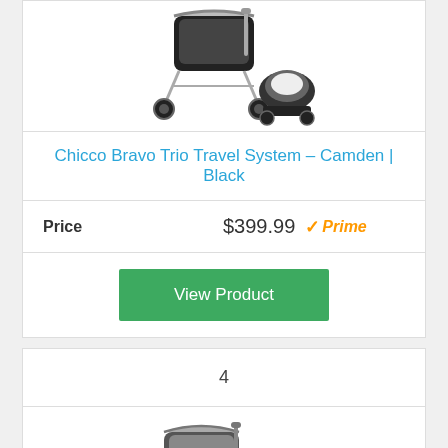[Figure (photo): Chicco Bravo Trio Travel System stroller with infant car seat, black color scheme]
Chicco Bravo Trio Travel System – Camden | Black
| Price |  |
| --- | --- |
| Price | $399.99 ✓Prime |
View Product
4
[Figure (photo): Second stroller product image, gray and black color scheme with infant seat]